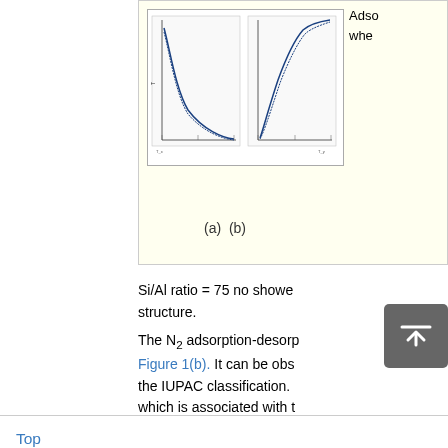[Figure (other): Adsorption-desorption isotherms showing two graphs labeled (a) and (b), with curves for N2 adsorption on zeolite samples with different Si/Al ratios]
(a) (b)
Si/Al ratio = 75 no showed structure.
The N2 adsorption-desorption Figure 1(b). It can be observed the IUPAC classification. which is associated with t [7] . Hysteresis of Si/Al = 25 and 50 increasing of the N very regular meso inflection points of inter particle capilla 1 shows the results of the
Top
ABSTRACT
Introduction
Experiment
Results and Discussion
Conclusion
Acknowledgements
References